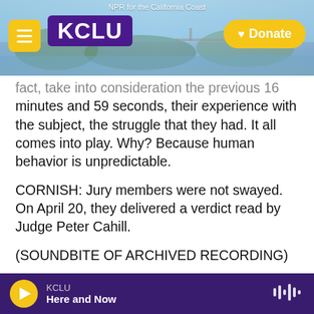NPR for the California Coast | KCLU | Donate
fact, take into consideration the previous 16 minutes and 59 seconds, their experience with the subject, the struggle that they had. It all comes into play. Why? Because human behavior is unpredictable.
CORNISH: Jury members were not swayed. On April 20, they delivered a verdict read by Judge Peter Cahill.
(SOUNDBITE OF ARCHIVED RECORDING)
PETER CAHILL: We the jury, in the above-entitled matter, as to count one, find the defendant guilty.
KCLU
Here and Now